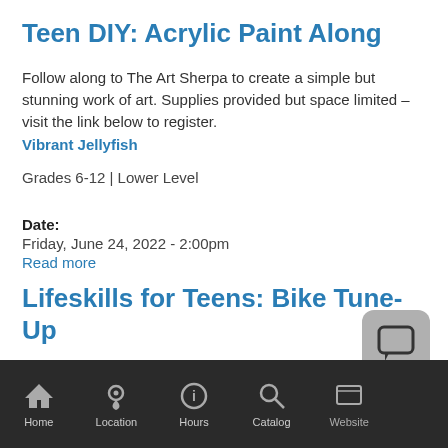Teen DIY: Acrylic Paint Along
Follow along to The Art Sherpa to create a simple but stunning work of art. Supplies provided but space limited – visit the link below to register.
Vibrant Jellyfish
Grades 6-12 | Lower Level
Date:
Friday, June 24, 2022 - 2:00pm
Read more
Lifeskills for Teens: Bike Tune-Up
Home | Location | Hours | Catalog | Website